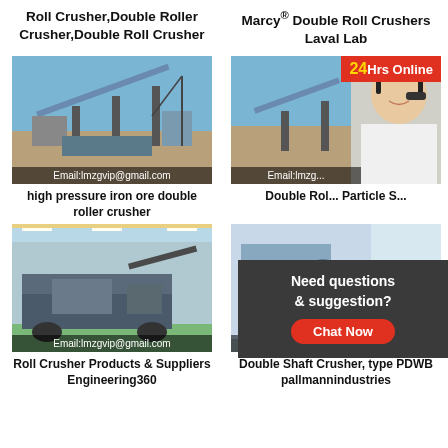Roll Crusher,Double Roller Crusher,Double Roll Crusher
Marcy® Double Roll Crushers Laval Lab
[Figure (photo): Outdoor industrial crusher/conveyor belt facility. Email:lmzgvip@gmail.com watermark at bottom.]
[Figure (photo): Outdoor crusher facility with 24Hrs Online banner and customer service agent with headset overlay. Email:lmzg partial watermark.]
high pressure iron ore double roller crusher
Double Rol... Particle S...
[Figure (photo): Indoor industrial factory with mobile crusher. Email:lmzgvip@gmail.com watermark at bottom.]
[Figure (photo): Industrial double shaft crusher in factory. Email:lmzgvip@gmail.com watermark. Chat Now popup overlay.]
Roll Crusher Products & Suppliers Engineering360
Double Shaft Crusher, type PDWB pallmannindustries